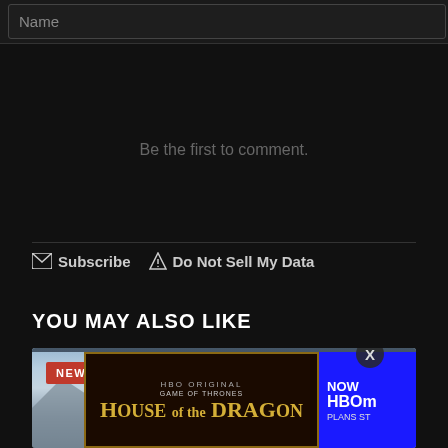Name
Be the first to comment.
Subscribe   Do Not Sell My Data
YOU MAY ALSO LIKE
[Figure (photo): Cityscape photo with bay water in foreground and city skyline in background under blue sky. NEWS badge in top left. HBO House of the Dragon advertisement overlay at bottom.]